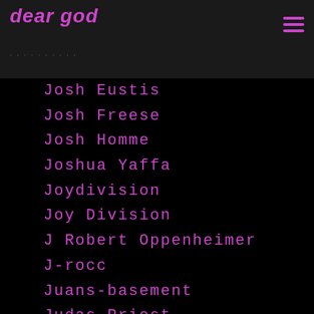dear god
Josh Eustis
Josh Freese
Josh Homme
Joshua Yaffa
Joydivision
Joy Division
J Robert Oppenheimer
J-rocc
Juans-basement
Judas Priest
Judd-apatow
Judge
Judge Dredd
Judy-mowatt
Juice-wrld
Julian-barnes
Julianne-moore